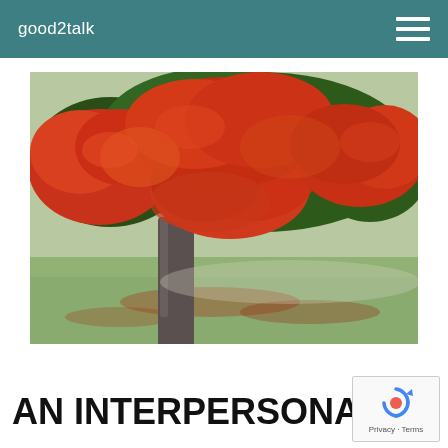good2talk
[Figure (photo): Autumn tree with bright red and orange leaves in a green park setting, trunk visible on left side, fallen leaves on ground below]
AN INTERPERSONAL